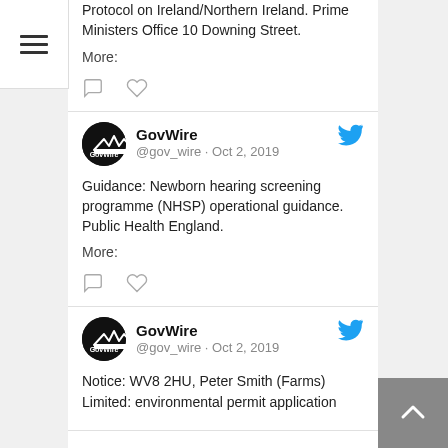Protocol on Ireland/Northern Ireland. Prime Ministers Office 10 Downing Street.
More:
[Figure (other): Comment and heart (like) icons for tweet actions]
[Figure (other): GovWire avatar with crown logo]
GovWire @gov_wire · Oct 2, 2019
Guidance: Newborn hearing screening programme (NHSP) operational guidance. Public Health England.
More:
[Figure (other): Comment and heart (like) icons for tweet actions]
[Figure (other): GovWire avatar with crown logo]
GovWire @gov_wire · Oct 2, 2019
Notice: WV8 2HU, Peter Smith (Farms) Limited: environmental permit application